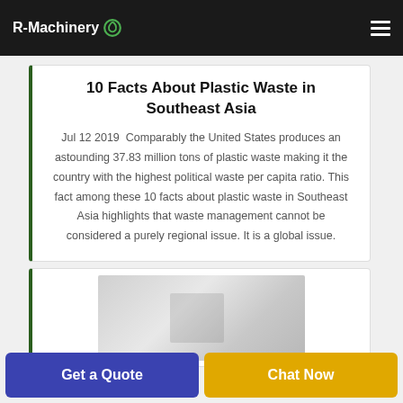R-Machinery
10 Facts About Plastic Waste in Southeast Asia
Jul 12 2019  Comparably the United States produces an astounding 37.83 million tons of plastic waste making it the country with the highest political waste per capita ratio. This fact among these 10 facts about plastic waste in Southeast Asia highlights that waste management cannot be considered a purely regional issue. It is a global issue.
[Figure (photo): Interior photo showing industrial or warehouse environment with machinery visible]
Get a Quote
Chat Now